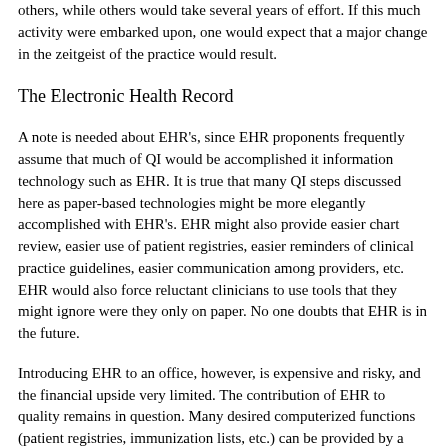others, while others would take several years of effort. If this much activity were embarked upon, one would expect that a major change in the zeitgeist of the practice would result.
The Electronic Health Record
A note is needed about EHR's, since EHR proponents frequently assume that much of QI would be accomplished it information technology such as EHR. It is true that many QI steps discussed here as paper-based technologies might be more elegantly accomplished with EHR's. EHR might also provide easier chart review, easier use of patient registries, easier reminders of clinical practice guidelines, easier communication among providers, etc. EHR would also force reluctant clinicians to use tools that they might ignore were they only on paper.  No one doubts that EHR is in the future.
Introducing EHR to an office, however, is expensive and risky, and the financial upside very limited.  The contribution of EHR to quality remains in question. Many desired computerized functions (patient registries, immunization lists, etc.) can be provided by a computerized billing system, already standard equipment in most offices. Critics wonder